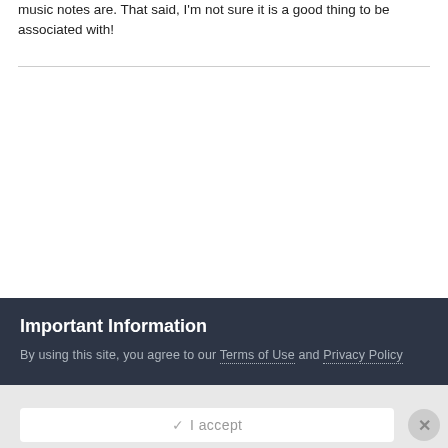music notes are. That said, I'm not sure it is a good thing to be associated with!
Important Information
By using this site, you agree to our Terms of Use and Privacy Policy
✓ I accept